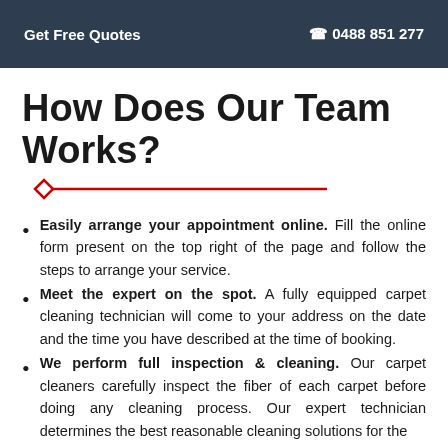Get Free Quotes   📞 0488 851 277
How Does Our Team Works?
Easily arrange your appointment online. Fill the online form present on the top right of the page and follow the steps to arrange your service.
Meet the expert on the spot. A fully equipped carpet cleaning technician will come to your address on the date and the time you have described at the time of booking.
We perform full inspection & cleaning. Our carpet cleaners carefully inspect the fiber of each carpet before doing any cleaning process. Our expert technician determines the best reasonable cleaning solutions for the